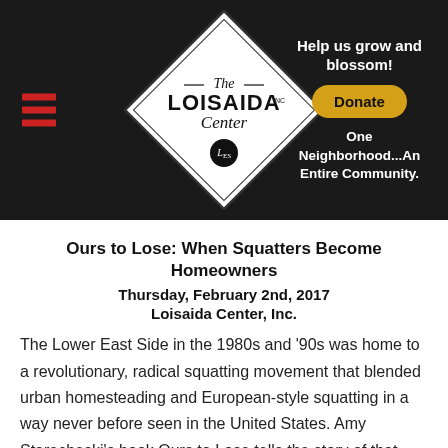[Figure (logo): The Loisaida Center logo — a diamond shape with the text 'The LOISAIDA Center' and 'LES' circle badge, on a dark background with hamburger menu icon on the left and donate/tagline text on the right]
Ours to Lose: When Squatters Become Homeowners
Thursday, February 2nd, 2017
Loisaida Center, Inc.
The Lower East Side in the 1980s and '90s was home to a revolutionary, radical squatting movement that blended urban homesteading and European-style squatting in a way never before seen in the United States. Amy Starecheski's book Ours to Lose tells the story of that movement through oral histories and personal experiences. This community of